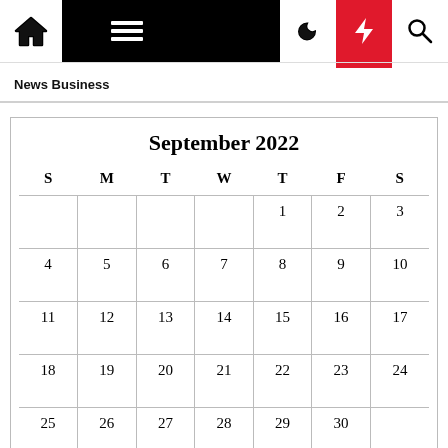News Business
| S | M | T | W | T | F | S |
| --- | --- | --- | --- | --- | --- | --- |
|  |  |  |  | 1 | 2 | 3 |
| 4 | 5 | 6 | 7 | 8 | 9 | 10 |
| 11 | 12 | 13 | 14 | 15 | 16 | 17 |
| 18 | 19 | 20 | 21 | 22 | 23 | 24 |
| 25 | 26 | 27 | 28 | 29 | 30 |  |